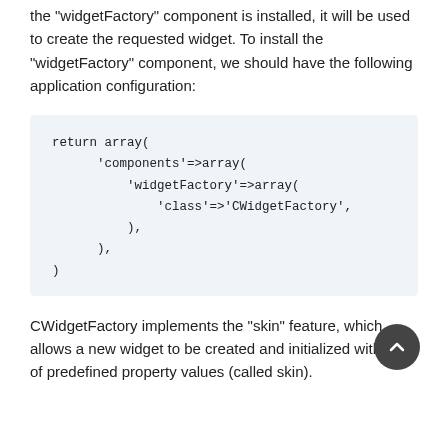the "widgetFactory" component is installed, it will be used to create the requested widget. To install the "widgetFactory" component, we should have the following application configuration:
return array(
    'components'=>array(
        'widgetFactory'=>array(
            'class'=>'CWidgetFactory',
        ),
    ),
)
CWidgetFactory implements the "skin" feature, which allows a new widget to be created and initialized with a set of predefined property values (called skin).